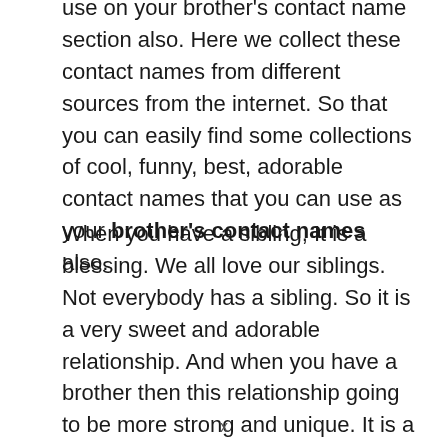use on your brother's contact name section also. Here we collect these contact names from different sources from the internet. So that you can easily find some collections of cool, funny, best, adorable contact names that you can use as your brother's contact names also.
When you have a sibling, It is a blessing. We all love our siblings. Not everybody has a sibling. So it is a very sweet and adorable relationship. And when you have a brother then this relationship going to be more strong and unique. It is a complex relationship. You fight with your brother much time but when the bad time comes he
x